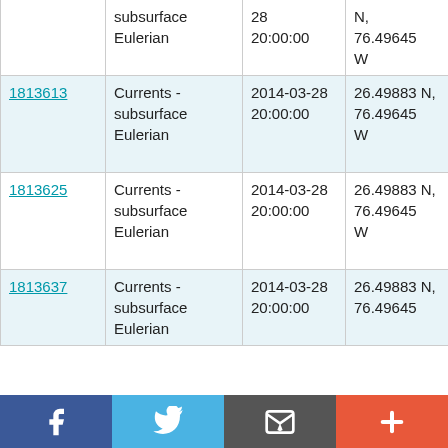| ID | Type | Date/Time | Location | Platform |
| --- | --- | --- | --- | --- |
|  | Currents - subsurface Eulerian | 2014-03-28 20:00:00 | N, 76.49645 W | RV Atlantic Explorer AE1404 |
| 1813613 | Currents - subsurface Eulerian | 2014-03-28 20:00:00 | 26.49883 N, 76.49645 W | RV Atlantic Explorer AE1404 |
| 1813625 | Currents - subsurface Eulerian | 2014-03-28 20:00:00 | 26.49883 N, 76.49645 W | RV Atlantic Explorer AE1404 |
| 1813637 | Currents - subsurface Eulerian | 2014-03-28 20:00:00 | 26.49883 N, 76.49645 | RV Atlantic Explorer |